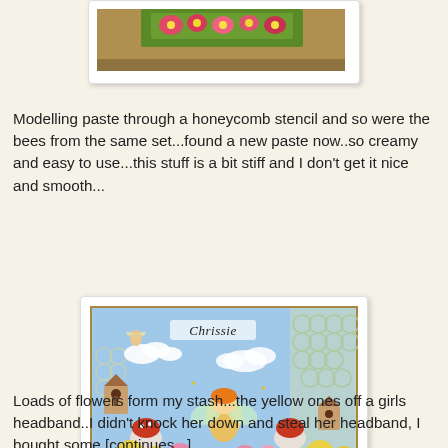[Figure (photo): Top partial photo showing a craft item with green foliage and pink/red flowers on a woven brown background, partially cropped at top of page]
Modelling paste through a honeycomb stencil and so were the bees from the same set...found a new paste now..so creamy and easy to use...this stuff is a bit stiff and I don't get it nice and smooth...
[Figure (photo): A decorated fairy-themed scrapbook or card featuring a fairy figure with orange hair and wings surrounded by colorful flowers (yellow, pink), mushrooms, clouds, birdhouse, honeycomb texture background, and the name 'Chrissie' written in script at the top]
Loads of flowers form my stash...the yellow ones off a girls headband..I didn't knock her down and steal her headband, I bought some [continues...]